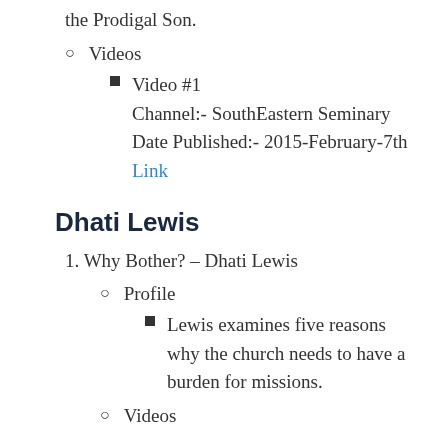the Prodigal Son.
Videos
Video #1
Channel:- SouthEastern Seminary
Date Published:- 2015-February-7th
Link
Dhati Lewis
1. Why Bother? – Dhati Lewis
Profile
Lewis examines five reasons why the church needs to have a burden for missions.
Videos